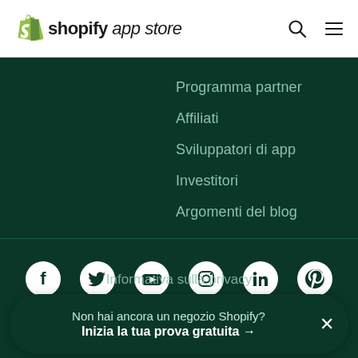Shopify app store
Programma partner
Affiliati
Sviluppatori di app
Investitori
Argomenti del blog
[Figure (other): Social media icons row: Facebook, Twitter, YouTube, Instagram, LinkedIn, Pinterest — white icons on dark green background]
Accesso sviluppatori
Informativa sulla privacy
Non hai ancora un negozio Shopify?
Inizia la tua prova gratuita →